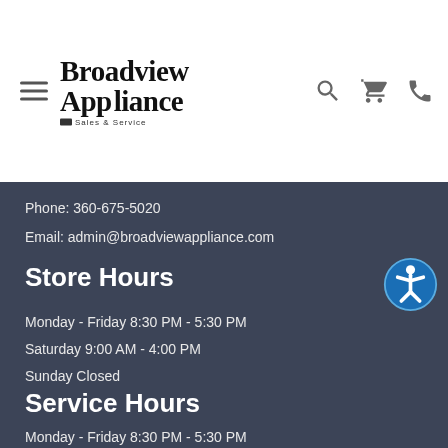Broadview Appliance Sales & Service
Phone: 360-675-5020
Email: admin@broadviewappliance.com
Store Hours
Monday - Friday 8:30 PM - 5:30 PM
Saturday 9:00 AM - 4:00 PM
Sunday Closed
Service Hours
Monday - Friday 8:30 PM - 5:30 PM